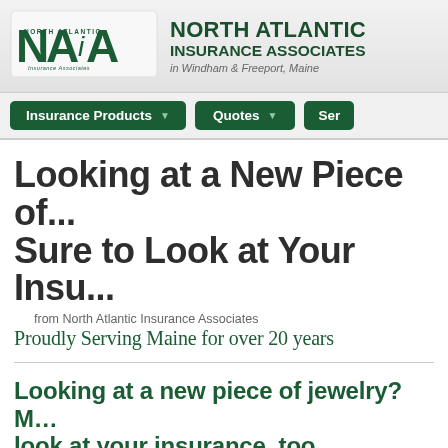[Figure (logo): NAIA North Atlantic Insurance Associates logo — green letters NAiA with small text below]
NORTH ATLANTIC INSURANCE ASSOCIATES in Windham & Freeport, Maine
[Figure (screenshot): Navigation bar with buttons: Insurance Products (dropdown), Quotes (dropdown), Ser...]
Looking at a New Piece of... Sure to Look at Your Insu...
from North Atlantic Insurance Associates
Proudly Serving Maine for over 20 years
Looking at a new piece of jewelry? M... look at your insurance, too
Feb 1, 2019